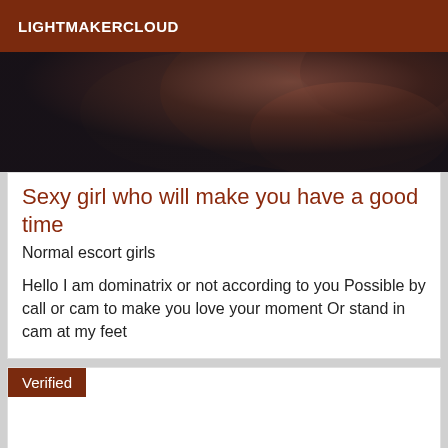LIGHTMAKERCLOUD
[Figure (photo): Close-up photo showing dark tones, partial face or body detail with dark background]
Sexy girl who will make you have a good time
Normal escort girls
Hello I am dominatrix or not according to you Possible by call or cam to make you love your moment Or stand in cam at my feet
Verified